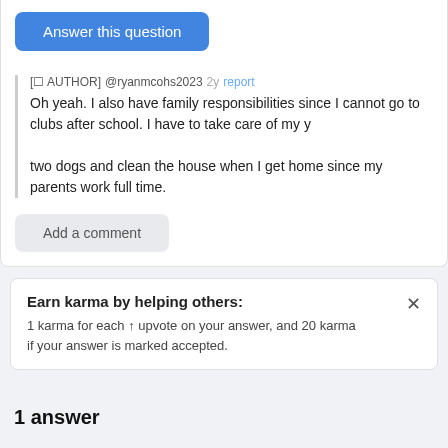[Figure (screenshot): Blue 'Answer this question' button]
[⬜ AUTHOR] @ryanmcohs2023 2y report
Oh yeah. I also have family responsibilities since I cannot go to clubs after school. I have to take care of my y

two dogs and clean the house when I get home since my parents work full time.
[Figure (screenshot): Gray 'Add a comment' button]
Earn karma by helping others:
1 karma for each ↑ upvote on your answer, and 20 karma if your answer is marked accepted.
1 answer